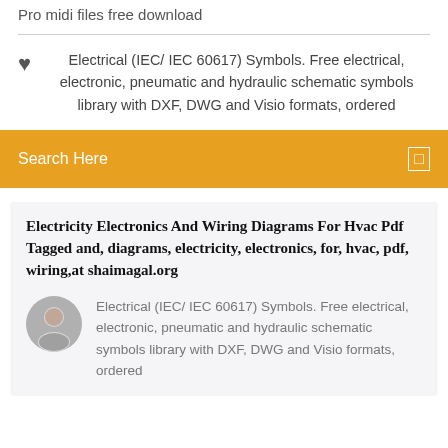Pro midi files free download
Electrical (IEC/ IEC 60617) Symbols. Free electrical, electronic, pneumatic and hydraulic schematic symbols library with DXF, DWG and Visio formats, ordered
Search Here
Electricity Electronics And Wiring Diagrams For Hvac Pdf Tagged and, diagrams, electricity, electronics, for, hvac, pdf, wiring,at shaimagal.org
Electrical (IEC/ IEC 60617) Symbols. Free electrical, electronic, pneumatic and hydraulic schematic symbols library with DXF, DWG and Visio formats, ordered